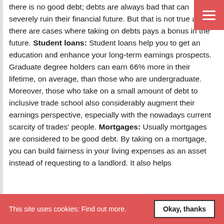there is no good debt; debts are always bad that can severely ruin their financial future. But that is not true as there are cases where taking on debts pays a bonus in the future. Student loans: Student loans help you to get an education and enhance your long-term earnings prospects. Graduate degree holders can earn 66% more in their lifetime, on average, than those who are undergraduate. Moreover, those who take on a small amount of debt to inclusive trade school also considerably augment their earnings perspective, especially with the nowadays current scarcity of trades' people. Mortgages: Usually mortgages are considered to be good debt. By taking on a mortgage, you can build fairness in your living expenses as an asset instead of requesting to a landlord. It also helps
This site uses cookies: Find out more. Okay, thanks